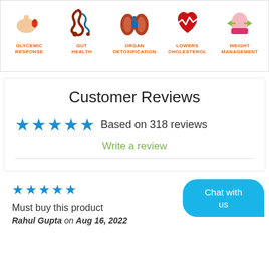[Figure (infographic): Five health benefit icons in a row: Glycemic Response (thumb with blood drop), Gut Health (intestines), Organ Detoxification (kidneys), Lowers Cholesterol (heart with ECG line), Weight Management (torso with arrows). Each icon has an orange label beneath it.]
Customer Reviews
★★★★★ Based on 318 reviews
Write a review
[Figure (infographic): Five blue stars rating (full 5 stars)]
Must buy this product
Rahul Gupta on Aug 16, 2022